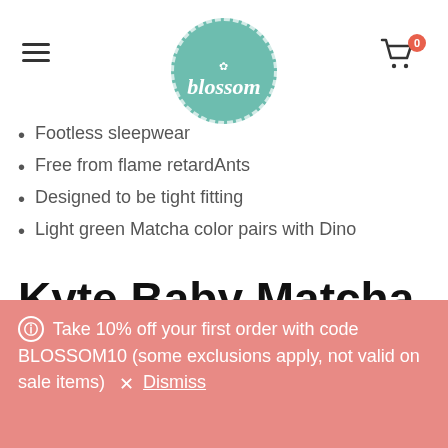[Figure (logo): Blossom shop logo - teal circle with dashed white border, white snowflake/flower icon at top, italic white text 'blossom']
Footless sleepwear
Free from flame retardAnts
Designed to be tight fitting
Light green Matcha color pairs with Dino
Kyte Baby Matcha
ⓘ Take 10% off your first order with code BLOSSOM10 (some exclusions apply, not valid on sale items) × Dismiss